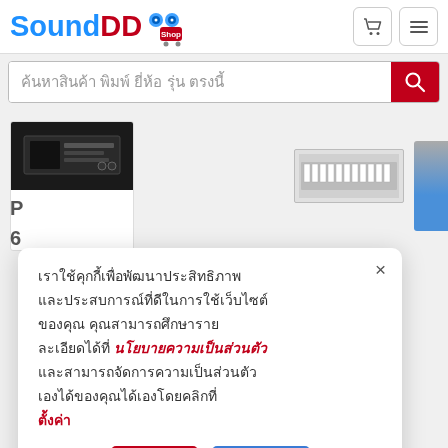[Figure (logo): SoundDD.Shop logo with blue 'Sound', red 'DD', and shop cart icon in red]
ค้นหาสินค้า พิมพ์ ยี่ห้อ รุ่น ตรงนี้
[Figure (screenshot): Product thumbnails partially visible: audio equipment in black, keyboard/synthesizer, and blue partial element]
เราใช้คุกกี้เพื่อพัฒนาประสิทธิภาพ และประสบการณ์ที่ดีในการใช้เว็บไซต์ ของคุณ คุณสามารถศึกษาราย ละเอียดได้ที่ นโยบายความเป็นส่วนตัว และสามารถจัดการความเป็นส่วนตัว เองได้ของคุณได้เองโดยคลิกที่ ตั้งค่า
ตั้งค่า
ยอมรับ